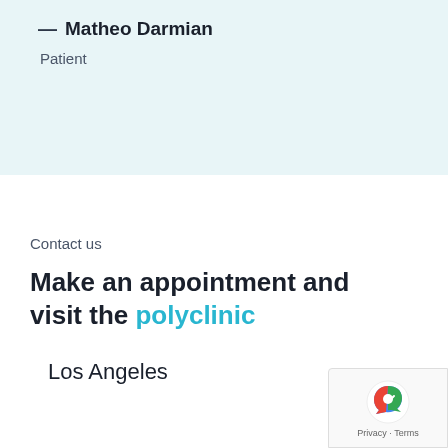— Matheo Darmian
Patient
Contact us
Make an appointment and visit the polyclinic
Los Angeles